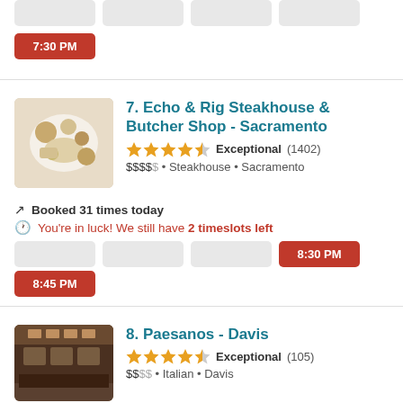7:30 PM
7. Echo & Rig Steakhouse & Butcher Shop - Sacramento
Exceptional (1402)
$$$$  •  Steakhouse  •  Sacramento
Booked 31 times today
You're in luck! We still have 2 timeslots left
8:30 PM
8:45 PM
8. Paesanos - Davis
Exceptional (105)
$$$$  •  Italian  •  Davis